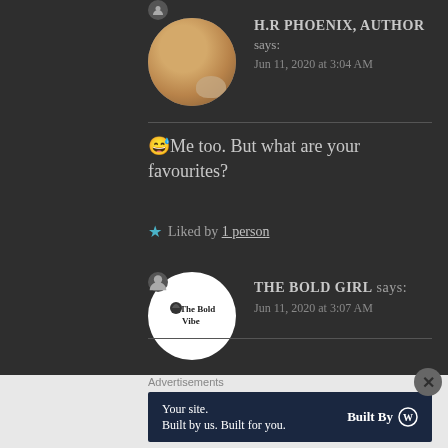H.R PHOENIX, AUTHOR says: Jun 11, 2020 at 3:04 AM
😅Me too. But what are your favourites?
★ Liked by 1 person
THE BOLD GIRL says: Jun 11, 2020 at 3:07 AM
Advertisements
Your site. Built by us. Built for you. Built By W